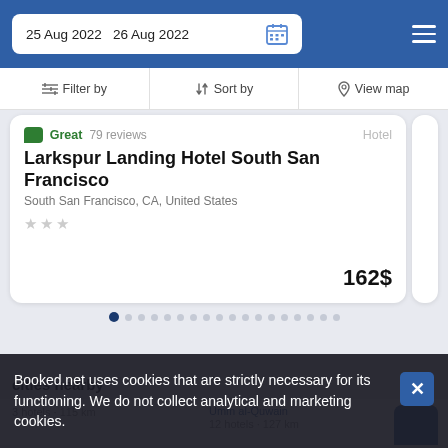25 Aug 2022   26 Aug 2022
Filter by   Sort by   View map
Great  79 reviews   Hotel
Larkspur Landing Hotel South San Francisco
South San Francisco, CA, United States
★★★
162$
Booked.net uses cookies that are strictly necessary for its functioning. We do not collect analytical and marketing cookies.